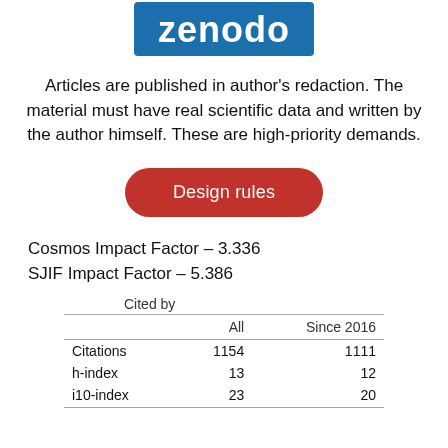[Figure (logo): Zenodo logo — white text on blue background]
Articles are published in author's redaction. The material must have real scientific data and written by the author himself. These are high-priority demands.
Design rules
Cosmos Impact Factor - 3.336
SJIF Impact Factor - 5.386
|  | All | Since 2016 |
| --- | --- | --- |
| Citations | 1154 | 1111 |
| h-index | 13 | 12 |
| i10-index | 23 | 20 |